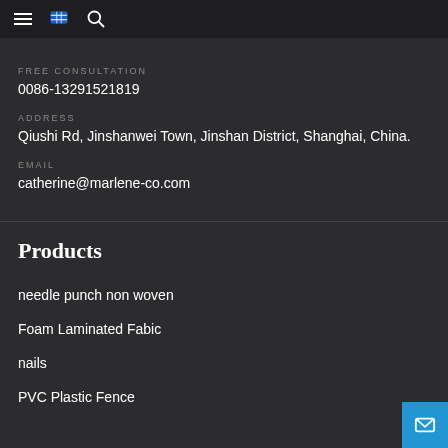Navigation bar with hamburger menu, language icon, and search icon
FREE CONSULTATION
0086-13291521819
ADDRESS
Qiushi Rd, Jinshanwei Town, Jinshan District, Shanghai, China.
EMAIL
catherine@marlene-co.com
Products
needle punch non woven
Foam Laminated Fabic
nails
PVC Plastic Fence